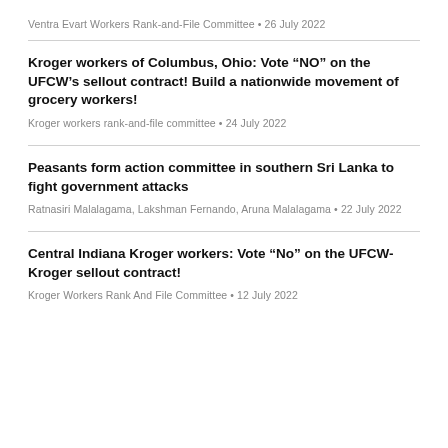Ventra Evart Workers Rank-and-File Committee • 26 July 2022
Kroger workers of Columbus, Ohio: Vote “NO” on the UFCW’s sellout contract! Build a nationwide movement of grocery workers!
Kroger workers rank-and-file committee • 24 July 2022
Peasants form action committee in southern Sri Lanka to fight government attacks
Ratnasiri Malalagama, Lakshman Fernando, Aruna Malalagama • 22 July 2022
Central Indiana Kroger workers: Vote “No” on the UFCW-Kroger sellout contract!
Kroger Workers Rank And File Committee • 12 July 2022